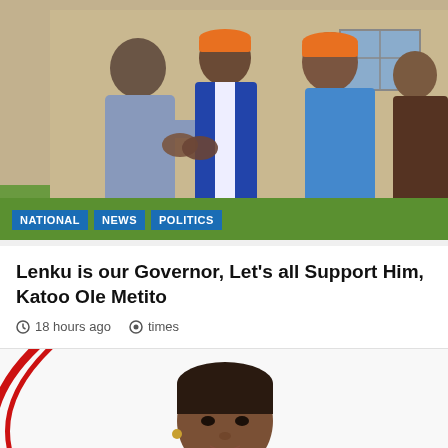[Figure (photo): Four men outdoors, two shaking hands in foreground; two men in orange caps in background by a stone building; lush green grass visible]
NATIONAL   NEWS   POLITICS
Lenku is our Governor, Let's all Support Him, Katoo Ole Metito
18 hours ago   times
[Figure (photo): Portrait of a woman in foreground on white background with red curved graphic element on the left side]